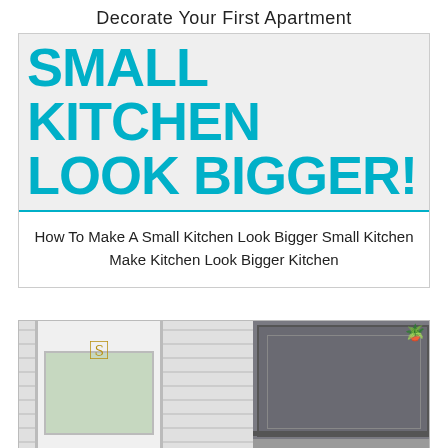Decorate Your First Apartment
SMALL KITCHEN LOOK BIGGER!
How To Make A Small Kitchen Look Bigger Small Kitchen Make Kitchen Look Bigger Kitchen
[Figure (photo): Photo of a small kitchen showing a white shiplap wall with a door and horseshoe door knocker on the left, and dark gray painted cabinets on the right]
CLOSE